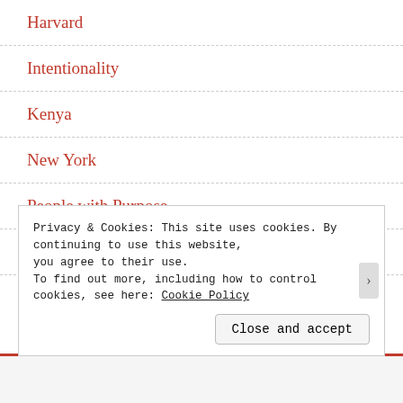Harvard
Intentionality
Kenya
New York
People with Purpose
Travel
Most Popular Posts & Pages
Privacy & Cookies: This site uses cookies. By continuing to use this website, you agree to their use.
To find out more, including how to control cookies, see here: Cookie Policy
Close and accept